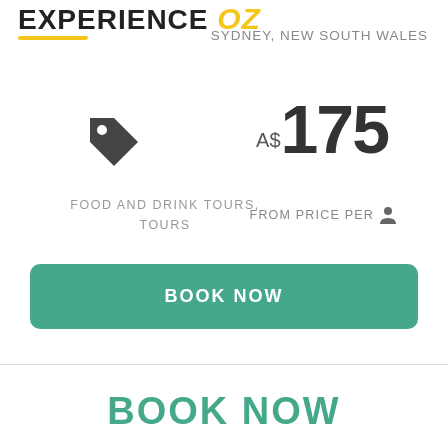[Figure (logo): Experience Oz logo with yellow OZ text and underline]
SYDNEY, NEW SOUTH WALES
[Figure (illustration): Price tag icon]
A$ 175
FOOD AND DRINK TOURS, TOURS
FROM PRICE PER person-icon
BOOK NOW
BOOK NOW